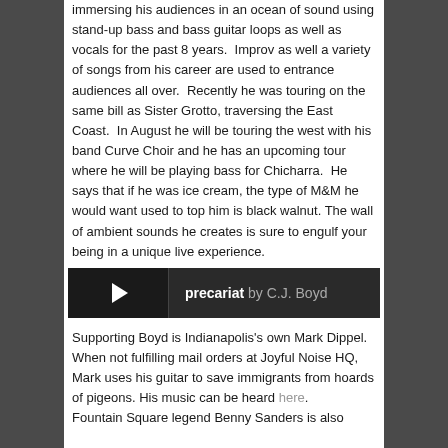immersing his audiences in an ocean of sound using stand-up bass and bass guitar loops as well as vocals for the past 8 years.  Improv as well a variety of songs from his career are used to entrance audiences all over.  Recently he was touring on the same bill as Sister Grotto, traversing the East Coast.  In August he will be touring the west with his band Curve Choir and he has an upcoming tour where he will be playing bass for Chicharra.  He says that if he was ice cream, the type of M&M he would want used to top him is black walnut. The wall of ambient sounds he creates is sure to engulf your being in a unique live experience.
[Figure (other): Dark audio player bar showing play button on left and track title 'precariat by C.J. Boyd' on right]
Supporting Boyd is Indianapolis's own Mark Dippel.  When not fulfilling mail orders at Joyful Noise HQ, Mark uses his guitar to save immigrants from hoards of pigeons. His music can be heard here.
Fountain Square legend Benny Sanders is also